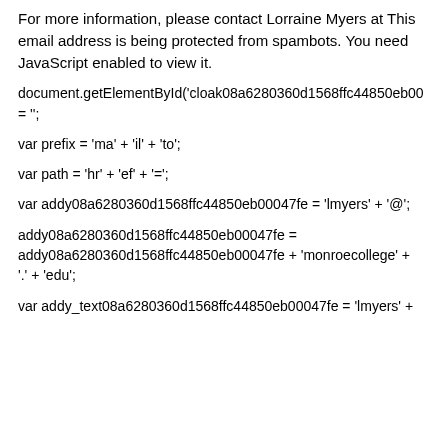For more information, please contact Lorraine Myers at This email address is being protected from spambots. You need JavaScript enabled to view it.
document.getElementById('cloak08a6280360d1568ffc44850eb000...').innerHTML = '';
var prefix = 'ma' + 'il' + 'to';
var path = 'hr' + 'ef' + '=';
var addy08a6280360d1568ffc44850eb00047fe = 'lmyers' + '@';
addy08a6280360d1568ffc44850eb00047fe = addy08a6280360d1568ffc44850eb00047fe + 'monroecollege' + '.' + 'edu';
var addy_text08a6280360d1568ffc44850eb00047fe = 'lmyers' +